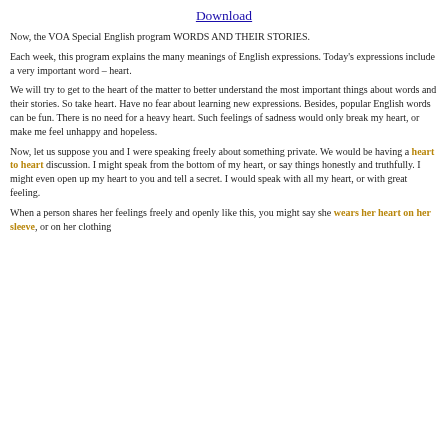Download
Now, the VOA Special English program WORDS AND THEIR STORIES.
Each week, this program explains the many meanings of English expressions. Today's expressions include a very important word – heart.
We will try to get to the heart of the matter to better understand the most important things about words and their stories. So take heart. Have no fear about learning new expressions. Besides, popular English words can be fun. There is no need for a heavy heart. Such feelings of sadness would only break my heart, or make me feel unhappy and hopeless.
Now, let us suppose you and I were speaking freely about something private. We would be having a heart to heart discussion. I might speak from the bottom of my heart, or say things honestly and truthfully. I might even open up my heart to you and tell a secret. I would speak with all my heart, or with great feeling.
When a person shares her feelings freely and openly like this, you might say she wears her heart on her sleeve, or on her clothing